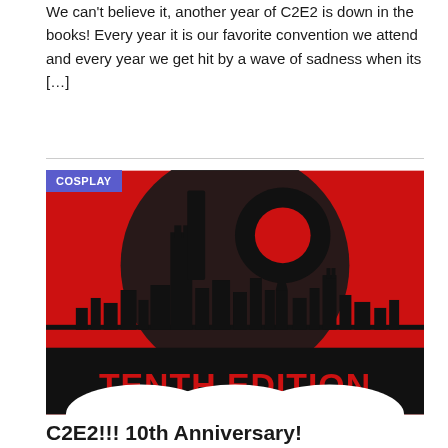We can't believe it, another year of C2E2 is down in the books! Every year it is our favorite convention we attend and every year we get hit by a wave of sadness when its […]
[Figure (illustration): C2E2 10th Anniversary promotional image: red and black graphic featuring a Chicago skyline silhouette with large '10' numerals and text 'TENTH EDITION' in bold red letters on black bar at bottom. A blue 'COSPLAY' badge is in the upper left corner.]
C2E2!!! 10th Anniversary!
March 23, 2019   Mark Dyar
Are you heading to Chicago this weekend? C2E2 launches its 10th Anniversary…